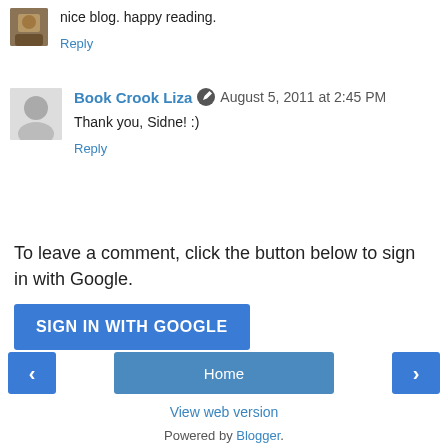nice blog. happy reading.
Reply
Book Crook Liza  August 5, 2011 at 2:45 PM
Thank you, Sidne! :)
Reply
To leave a comment, click the button below to sign in with Google.
SIGN IN WITH GOOGLE
Home
View web version
Powered by Blogger.